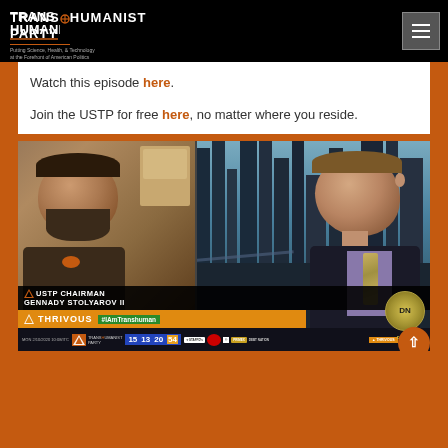Transhumanist Party — Putting Science, Health, & Technology at the Forefront of American Politics
Watch this episode here.
Join the USTP for free here, no matter where you reside.
[Figure (screenshot): TV broadcast screenshot showing USTP Chairman Gennady Stolyarov II on the left in a video call, and a host on the right in a studio with city skyline background. Lower-third graphics show 'USTP CHAIRMAN GENNADY STOLYAROV II', Thrivous logo, #IAmTranshuman hashtag in green, and Debt Nation logo. Bottom ticker shows date, countdown numbers 15 13 20 54, and sponsor logos including STAFFD, Thrivous, and others.]